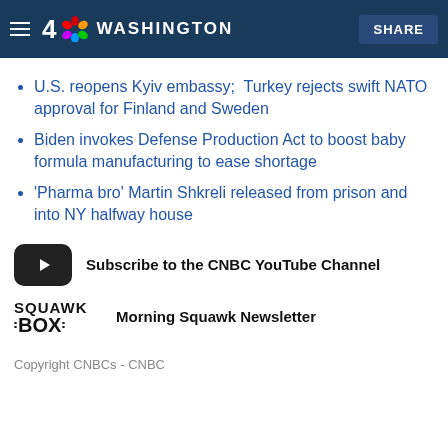4 NBC WASHINGTON  SHARE
U.S. reopens Kyiv embassy;  Turkey rejects swift NATO approval for Finland and Sweden
Biden invokes Defense Production Act to boost baby formula manufacturing to ease shortage
'Pharma bro' Martin Shkreli released from prison and into NY halfway house
Subscribe to the CNBC YouTube Channel
Morning Squawk Newsletter
Copyright CNBCs - CNBC